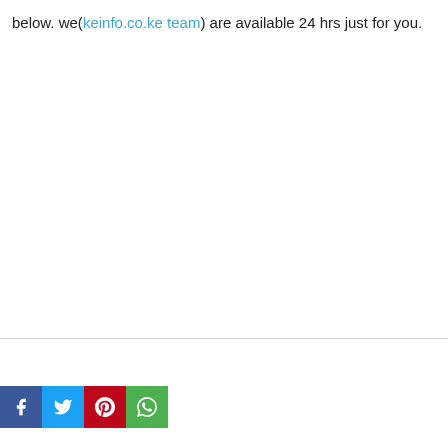below. we(keinfo.co.ke team) are available 24 hrs just for you.
[Figure (other): Facebook Like button showing 0 likes]
[Figure (other): Social share buttons: Facebook (blue), Twitter (light blue), Pinterest (red), WhatsApp (green)]